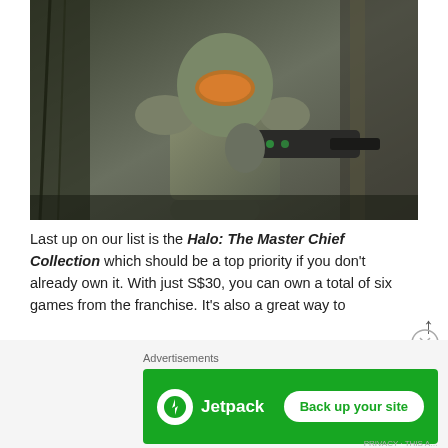[Figure (photo): Halo Master Chief character in green armor holding a weapon, set against a dark forested background]
Last up on our list is the Halo: The Master Chief Collection which should be a top priority if you don't already own it. With just S$30, you can own a total of six games from the franchise. It's also a great way to
Advertisements
[Figure (logo): Jetpack advertisement banner with logo and 'Back up your site' button on green background]